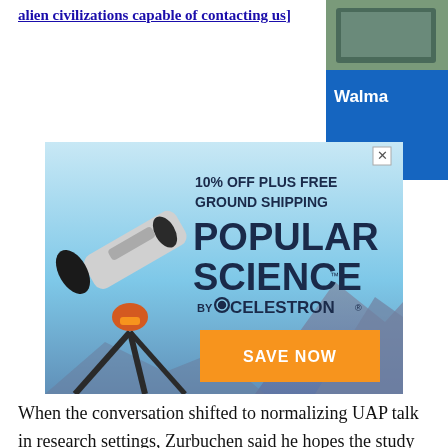alien civilizations capable of contacting us]
[Figure (photo): Advertisement for Popular Science by Celestron telescopes: '10% OFF PLUS FREE GROUND SHIPPING' with telescope image and 'SAVE NOW' button. Walmart ad partially visible in top right corner.]
When the conversation shifted to normalizing UAP talk in research settings, Zurbuchen said he hopes the study will communicate that science is a process, one that works to reveal the truth behind any and all